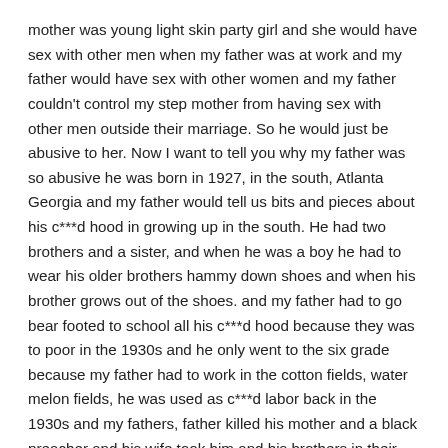mother was young light skin party girl and she would have sex with other men when my father was at work and my father would have sex with other women and my father couldn't control my step mother from having sex with other men outside their marriage. So he would just be abusive to her. Now I want to tell you why my father was so abusive he was born in 1927, in the south, Atlanta Georgia and my father would tell us bits and pieces about his c***d hood in growing up in the south. He had two brothers and a sister, and when he was a boy he had to wear his older brothers hammy down shoes and when his brother grows out of the shoes. and my father had to go bear footed to school all his c***d hood because they was to poor in the 1930s and he only went to the six grade because my father had to work in the cotton fields, water melon fields, he was used as c***d labor back in the 1930s and my fathers, father killed his mother and a black preacher and his wife took him and his brothers in their home and treated klasbahis